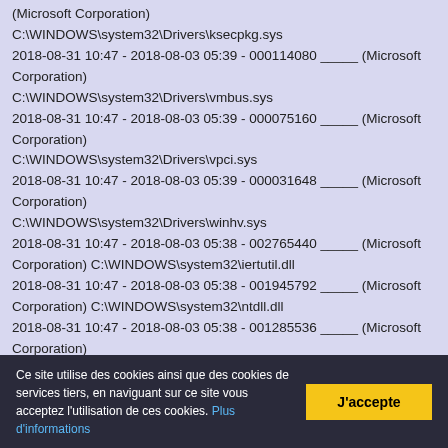(Microsoft Corporation)
C:\WINDOWS\system32\Drivers\ksecpkg.sys
2018-08-31 10:47 - 2018-08-03 05:39 - 000114080 _____ (Microsoft Corporation)
C:\WINDOWS\system32\Drivers\vmbus.sys
2018-08-31 10:47 - 2018-08-03 05:39 - 000075160 _____ (Microsoft Corporation)
C:\WINDOWS\system32\Drivers\vpci.sys
2018-08-31 10:47 - 2018-08-03 05:39 - 000031648 _____ (Microsoft Corporation)
C:\WINDOWS\system32\Drivers\winhv.sys
2018-08-31 10:47 - 2018-08-03 05:38 - 002765440 _____ (Microsoft Corporation) C:\WINDOWS\system32\iertutil.dll
2018-08-31 10:47 - 2018-08-03 05:38 - 001945792 _____ (Microsoft Corporation) C:\WINDOWS\system32\ntdll.dll
2018-08-31 10:47 - 2018-08-03 05:38 - 001285536 _____ (Microsoft Corporation)
C:\WINDOWS\system32\Drivers\ndis.sys
2018-08-31 10:47 - 2018-08-03 05:38 - 001258288 _____
(Microsoft Corporation) C:\WINDOWS\system32\winload.exe
Ce site utilise des cookies ainsi que des cookies de services tiers, en naviguant sur ce site vous acceptez l'utilisation de ces cookies. Plus d'informations